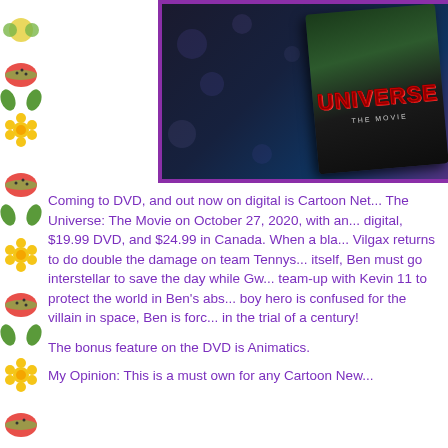[Figure (photo): Photo of a Ben 10 vs The Universe: The Movie DVD case on a floral background, inside a purple border frame.]
Coming to DVD, and out now on digital is Cartoon Net... The Universe: The Movie on October 27, 2020, with an... digital, $19.99 DVD, and $24.99 in Canada. When a bla... Vilgax returns to do double the damage on team Tennys... itself, Ben must go interstellar to save the day while Gw... team-up with Kevin 11 to protect the world in Ben's abs... boy hero is confused for the villain in space, Ben is forc... in the trial of a century!
The bonus feature on the DVD is Animatics.
My Opinion: This is a must own for any Cartoon New...